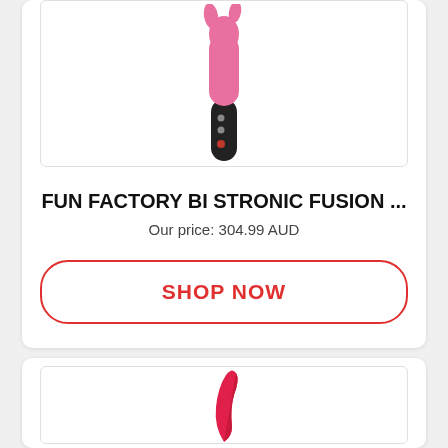[Figure (photo): Pink and black vibrator product photo, partially cropped, shown against white background with light grey border]
FUN FACTORY BI STRONIC FUSION ...
Our price: 304.99 AUD
[Figure (other): SHOP NOW button with red border and red text on white background]
[Figure (photo): Red/pink curved product photo partially visible at bottom of page]